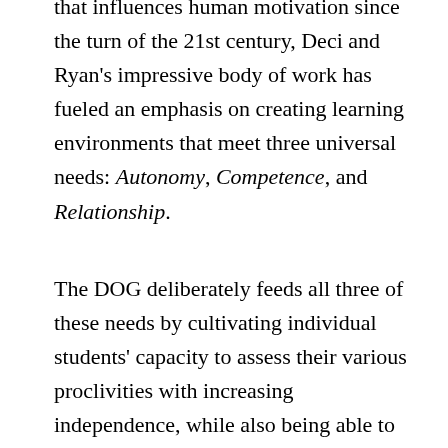that influences human motivation since the turn of the 21st century, Deci and Ryan's impressive body of work has fueled an emphasis on creating learning environments that meet three universal needs: Autonomy, Competence, and Relationship.
The DOG deliberately feeds all three of these needs by cultivating individual students' capacity to assess their various proclivities with increasing independence, while also being able to communicate clearly about their goals and growth.